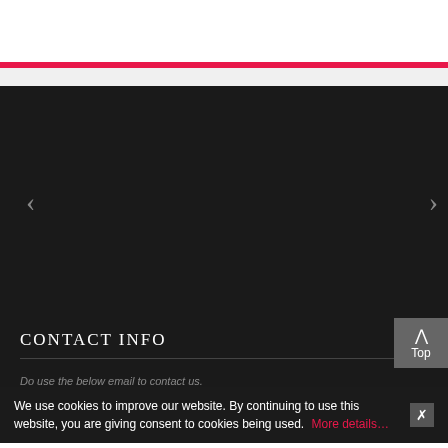[Figure (screenshot): Website screenshot showing a dark image carousel section with left and right navigation arrows, followed by a CONTACT INFO section header on dark background]
CONTACT INFO
Do use the below email to contact us.
We use cookies to improve our website. By continuing to use this website, you are giving consent to cookies being used. More details…